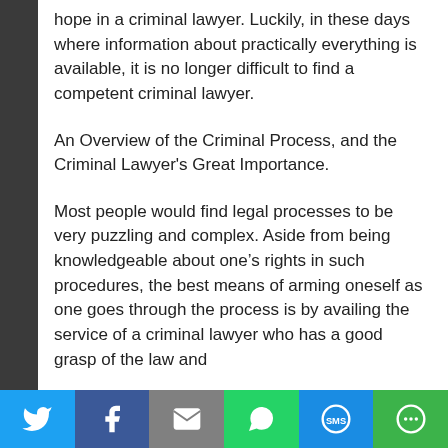hope in a criminal lawyer. Luckily, in these days where information about practically everything is available, it is no longer difficult to find a competent criminal lawyer.
An Overview of the Criminal Process, and the Criminal Lawyer's Great Importance.
Most people would find legal processes to be very puzzling and complex. Aside from being knowledgeable about one's rights in such procedures, the best means of arming oneself as one goes through the process is by availing the service of a criminal lawyer who has a good grasp of the law and